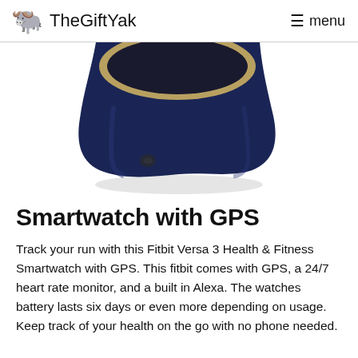TheGiftYak  menu
[Figure (photo): Bottom portion of a Fitbit Versa 3 smartwatch with navy blue band and gold-tone case, shown against a white background with a soft shadow beneath]
Smartwatch with GPS
Track your run with this Fitbit Versa 3 Health & Fitness Smartwatch with GPS. This fitbit comes with GPS, a 24/7 heart rate monitor, and a built in Alexa. The watches battery lasts six days or even more depending on usage. Keep track of your health on the go with no phone needed.